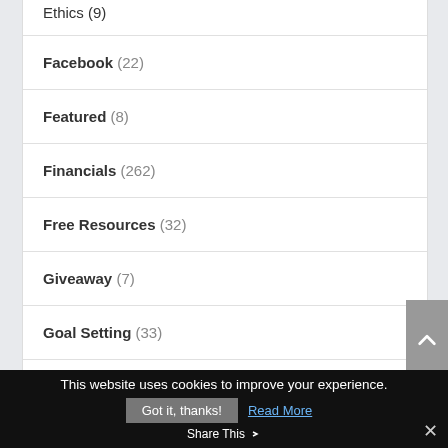Ethics (9)
Facebook (22)
Featured (8)
Financials (262)
Free Resources (32)
Giveaway (7)
Goal Setting (33)
Green Business (14)
This website uses cookies to improve your experience.
Got it, thanks!  Read More
Share This